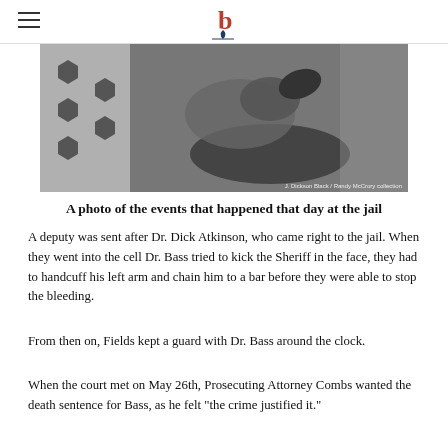b (logo)
[Figure (photo): A black and white photo showing events at the jail, with a perforated metal wall on the left and a figure on the ground. Photo credit: J. Dickson Black / Randy McCrory collection]
A photo of the events that happened that day at the jail
A deputy was sent after Dr. Dick Atkinson, who came right to the jail. When they went into the cell Dr. Bass tried to kick the Sheriff in the face, they had to handcuff his left arm and chain him to a bar before they were able to stop the bleeding.
From then on, Fields kept a guard with Dr. Bass around the clock.
When the court met on May 26th, Prosecuting Attorney Combs wanted the death sentence for Bass, as he felt "the crime justified it."